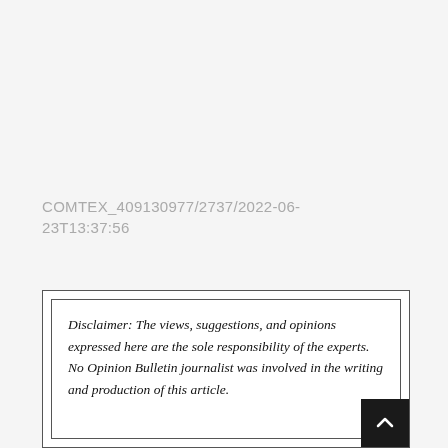COMTEX_409130977/2737/2022-06-23T13:37:56
Disclaimer: The views, suggestions, and opinions expressed here are the sole responsibility of the experts. No Opinion Bulletin journalist was involved in the writing and production of this article.